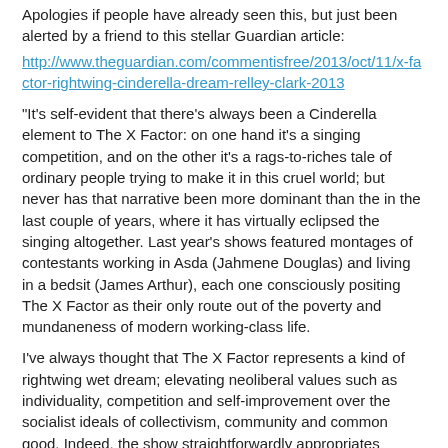Apologies if people have already seen this, but just been alerted by a friend to this stellar Guardian article:
http://www.theguardian.com/commentisfree/2013/oct/11/x-factor-rightwing-cinderella-dream-relley-clark-2013
"It's self-evident that there's always been a Cinderella element to The X Factor: on one hand it's a singing competition, and on the other it's a rags-to-riches tale of ordinary people trying to make it in this cruel world; but never has that narrative been more dominant than the in the last couple of years, where it has virtually eclipsed the singing altogether. Last year's shows featured montages of contestants working in Asda (Jahmene Douglas) and living in a bedsit (James Arthur), each one consciously positing The X Factor as their only route out of the poverty and mundaneness of modern working-class life.
I've always thought that The X Factor represents a kind of rightwing wet dream; elevating neoliberal values such as individuality, competition and self-improvement over the socialist ideals of collectivism, community and common good. Indeed, the show straightforwardly appropriates working-class traditions which promote togetherness, such as working men's clubs and karaoke; and turns them into a competition for prosperity arbitrated by judges who are members of the super-rich. [...] The overarching message seems to be a familiar one: